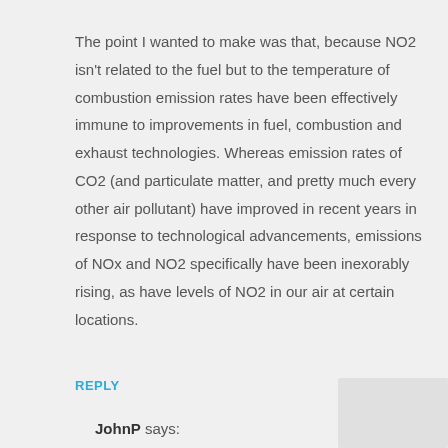The point I wanted to make was that, because NO2 isn't related to the fuel but to the temperature of combustion emission rates have been effectively immune to improvements in fuel, combustion and exhaust technologies. Whereas emission rates of CO2 (and particulate matter, and pretty much every other air pollutant) have improved in recent years in response to technological advancements, emissions of NOx and NO2 specifically have been inexorably rising, as have levels of NO2 in our air at certain locations.
REPLY
JohnP says: